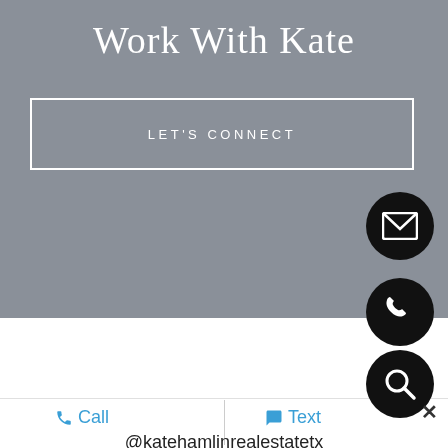Work With Kate
LET'S CONNECT
[Figure (illustration): Three black circular icon buttons on the right side: email envelope icon, phone icon, and search/magnifier icon]
Call   Text
@katehamlinrealestatetx